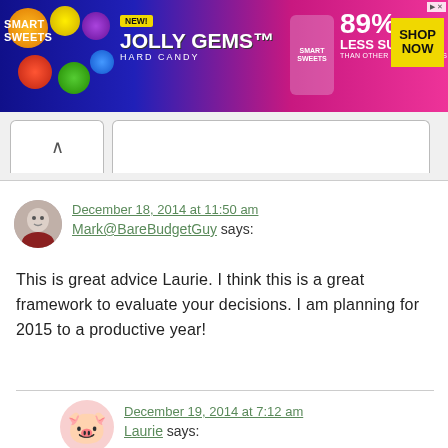[Figure (photo): Smart Sweets Jolly Gems Hard Candy advertisement banner. Blue/pink gradient background with candy imagery. Text: 'Smart Sweets', 'NEW!', 'JOLLY GEMS HARD CANDY', '89% LESS SUGAR THAN OTHER HARD CANDIES', 'SHOP NOW' button.]
December 18, 2014 at 11:50 am
Mark@BareBudgetGuy says:
This is great advice Laurie. I think this is a great framework to evaluate your decisions. I am planning for 2015 to a productive year!
December 19, 2014 at 7:12 am
Laurie says:
We are planning for a great year in 2015 too, Mark. Here’s to BIG success!